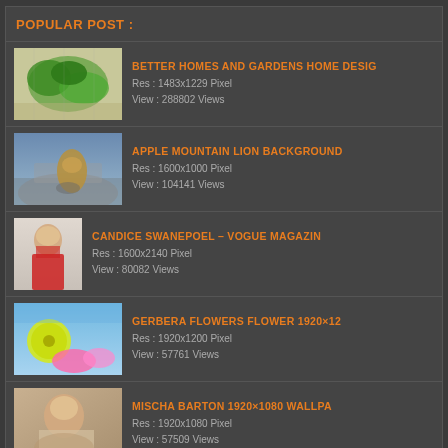POPULAR POST :
BETTER HOMES AND GARDENS HOME DESIG
Res : 1483x1229 Pixel
View : 288802 Views
APPLE MOUNTAIN LION BACKGROUND
Res : 1600x1000 Pixel
View : 104141 Views
CANDICE SWANEPOEL – VOGUE MAGAZIN
Res : 1600x2140 Pixel
View : 80082 Views
GERBERA FLOWERS FLOWER 1920×12
Res : 1920x1200 Pixel
View : 57761 Views
MISCHA BARTON 1920×1080 WALLPA
Res : 1920x1080 Pixel
View : 57509 Views
CUTE BABY BABY GIRL CUTE SMILEING F
Res : 2500x1600 Pixel
View : 25620 Views